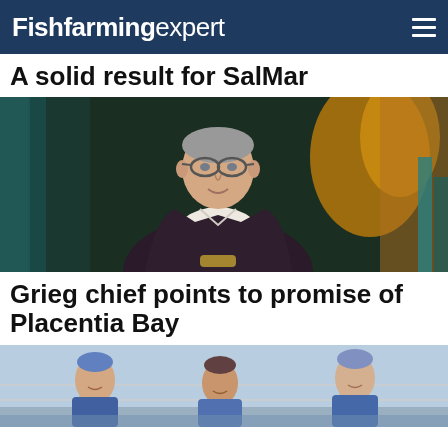Fishfarming expert
A solid result for SalMar
[Figure (photo): Middle-aged man with glasses and grey hair wearing a dark blazer speaking or presenting, with colourful teal and orange background elements]
Grieg chief points to promise of Placentia Bay
[Figure (photo): Group of people in blue shirts or work wear near fish farming equipment outdoors]